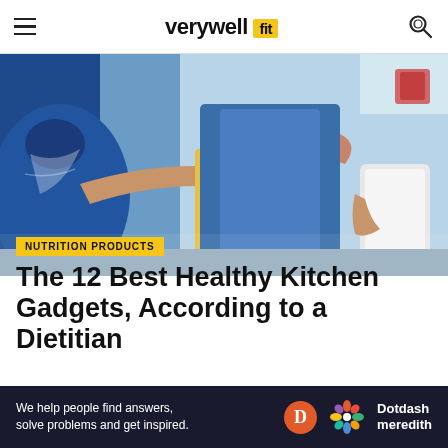verywell fit
[Figure (photo): Woman using a blender in a kitchen, reaching into a blender cup with red-painted fingernails, wearing denim overalls, another person in blue jacket beside her]
NUTRITION PRODUCTS
The 12 Best Healthy Kitchen Gadgets, According to a Dietitian
Medically reviewed by Willow Jarosh, MS, RD
We help people find answers, solve problems and get inspired.
[Figure (logo): Dotdash Meredith logo with orange D circle and colorful flower icon]